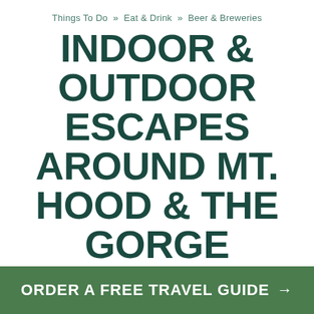Things To Do  »  Eat & Drink  »  Beer & Breweries
INDOOR & OUTDOOR ESCAPES AROUND MT. HOOD & THE GORGE
Laura O. Foster,  Author
ORDER A FREE TRAVEL GUIDE →